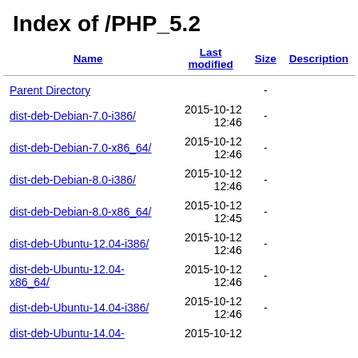Index of /PHP_5.2
| Name | Last modified | Size | Description |
| --- | --- | --- | --- |
| Parent Directory |  | - |  |
| dist-deb-Debian-7.0-i386/ | 2015-10-12 12:46 | - |  |
| dist-deb-Debian-7.0-x86_64/ | 2015-10-12 12:46 | - |  |
| dist-deb-Debian-8.0-i386/ | 2015-10-12 12:46 | - |  |
| dist-deb-Debian-8.0-x86_64/ | 2015-10-12 12:45 | - |  |
| dist-deb-Ubuntu-12.04-i386/ | 2015-10-12 12:46 | - |  |
| dist-deb-Ubuntu-12.04-x86_64/ | 2015-10-12 12:46 | - |  |
| dist-deb-Ubuntu-14.04-i386/ | 2015-10-12 12:46 | - |  |
| dist-deb-Ubuntu-14.04- | 2015-10-12 |  |  |